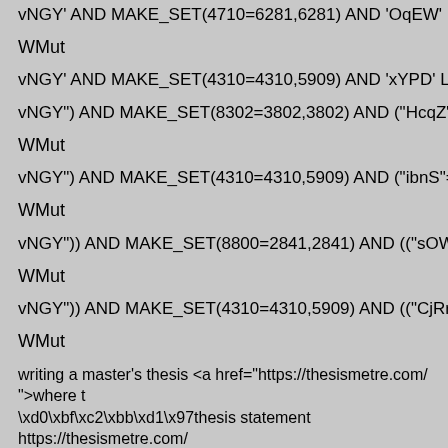vNGY' AND MAKE_SET(4710=6281,6281) AND 'OqEW' LIKE 'OqEW
WMut
vNGY' AND MAKE_SET(4310=4310,5909) AND 'xYPD' LIKE 'xYPD
vNGY") AND MAKE_SET(8302=3802,3802) AND ("HcqZ"="HcqZ
WMut
vNGY") AND MAKE_SET(4310=4310,5909) AND ("ibnS"="ibnS
WMut
vNGY")) AND MAKE_SET(8800=2841,2841) AND (("sOWo"="sOWo
WMut
vNGY")) AND MAKE_SET(4310=4310,5909) AND (("CjRr"="CjRr
WMut
writing a master's thesis <a href="https://thesismetre.com/ ">where to buy thesis \xd0\xbf\xc2\xbb\xd1\x97thesis statement https://thesismetre.com/
vNGY"))) AND MAKE_SET(2682=8076,8076) AND ((("rhxR"="rhxR